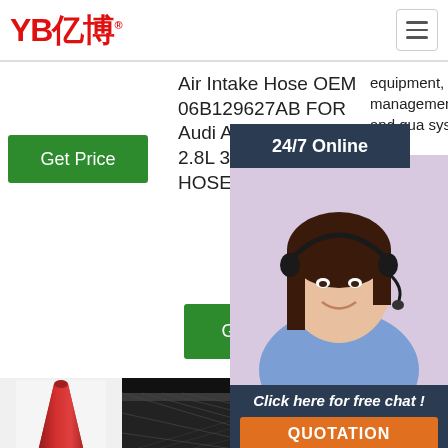[Figure (logo): YB亿博 logo in red with registered trademark symbol]
Air Intake Hose OEM 06B129627AB FOR Audi A4 1.8L 2.0L 2.8L 3 J1L2 RUBBER HOSE'
equipment, management and quality system
Get Price
24/7 Online
Get Price
[Figure (photo): Customer service representative woman with headset smiling]
Click here for free chat !
QUOTATION
[Figure (photo): Red rubber cone-shaped hose product]
[Figure (photo): Close-up of black braided rubber hose]
[Figure (photo): Bundle of black rubber hoses/cables with TOP logo]